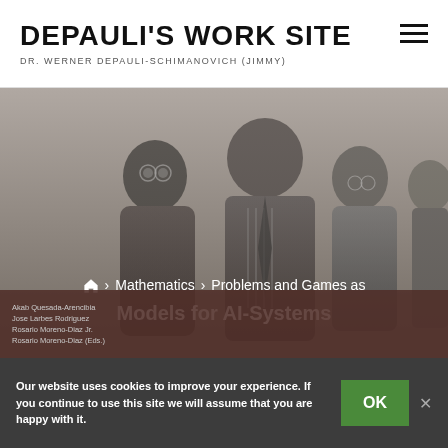DEPAULI'S WORK SITE
DR. WERNER DEPAULI-SCHIMANOVICH (JIMMY)
[Figure (photo): Grayscale historical photograph of four men in suits, partially overlaid with breadcrumb navigation text]
Problems and Games as Models for AI-Systems
⌂ › Mathematics › Problems and Games as Models for AI-Systems
[Figure (illustration): Dark reddish-brown book panel with small text listing authors: Akab Quesada-Arencibia, Jose Larbes Rodriguez, Rosario Moreno-Diaz Jr., Rosario Moreno-Diaz (Eds.)]
Our website uses cookies to improve your experience. If you continue to use this site we will assume that you are happy with it.